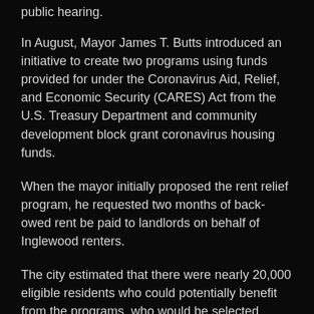public hearing.
In August, Mayor James T. Butts introduced an initiative to create two programs using funds provided for under the Coronavirus Aid, Relief, and Economic Security (CARES) Act from the U.S. Treasury Department and community development block grant coronavirus housing funds.
When the mayor initially proposed the rent relief program, he requested two months of back-owed rent be paid to landlords on behalf of Inglewood renters.
The city estimated that there were nearly 20,000 eligible residents who could potentially benefit from the programs, who would be selected based on a lottery. Priority would be given to the disabled and elderly.
Despite the city's outreach efforts, fewer applications were